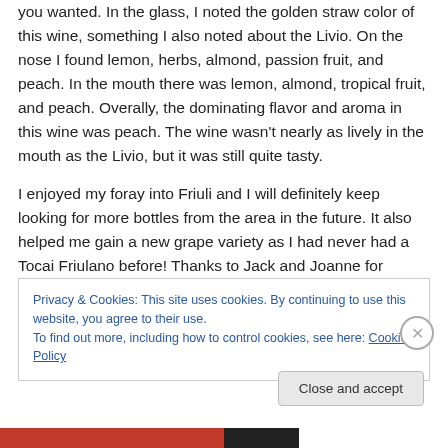you wanted. In the glass, I noted the golden straw color of this wine, something I also noted about the Livio. On the nose I found lemon, herbs, almond, passion fruit, and peach. In the mouth there was lemon, almond, tropical fruit, and peach. Overally, the dominating flavor and aroma in this wine was peach. The wine wasn't nearly as lively in the mouth as the Livio, but it was still quite tasty.
I enjoyed my foray into Friuli and I will definitely keep looking for more bottles from the area in the future. It also helped me gain a new grape variety as I had never had a Tocai Friulano before! Thanks to Jack and Joanne for
Privacy & Cookies: This site uses cookies. By continuing to use this website, you agree to their use.
To find out more, including how to control cookies, see here: Cookie Policy
Close and accept